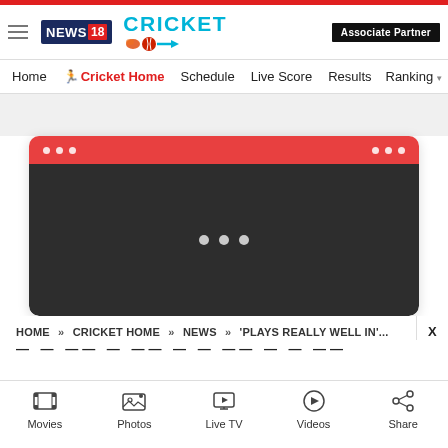Associate Partner
[Figure (logo): News18 Cricket logo with hamburger menu icon, News18 logo in navy/red and Cricket text in cyan with ball and arrow]
Home | Cricket Home | Schedule | Live Score | Results | Ranking
[Figure (screenshot): Video player widget loading state with red top bar with dots and dark body with three loading dots]
HOME » CRICKET HOME » NEWS » 'PLAYS REALLY WELL IN'...
— — —— — —— — — —— — — ——
Movies | Photos | Live TV | Videos | Share